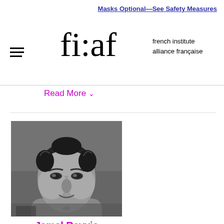fi:af french institute alliance française
Masks Optional—See Safety Measures
Read More ∨
[Figure (photo): Black and white portrait photo of Jamal Rayyis, a person with curly dark hair, looking slightly toward the camera with a subtle smile.]
Jamal Rayyis